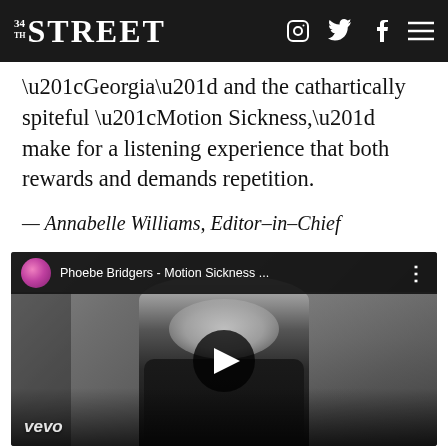34TH STREET
“Georgia” and the cathartically spiteful “Motion Sickness,” make for a listening experience that both rewards and demands repetition.
— Annabelle Williams, Editor–in–Chief
[Figure (screenshot): YouTube video embed showing Phoebe Bridgers - Motion Sickness music video thumbnail. A person with white/blonde hair wearing a black suit is centered in the frame. The video header shows a pink circle thumbnail, the title 'Phoebe Bridgers - Motion Sickness ...' and a three-dot menu. A play button is centered over the image. The vevo logo appears in the bottom left.]